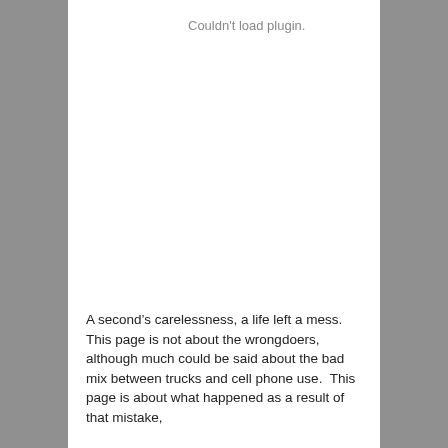Couldn't load plugin.
A second’s carelessness, a life left a mess.  This page is not about the wrongdoers, although much could be said about the bad mix between trucks and cell phone use.  This page is about what happened as a result of that mistake,